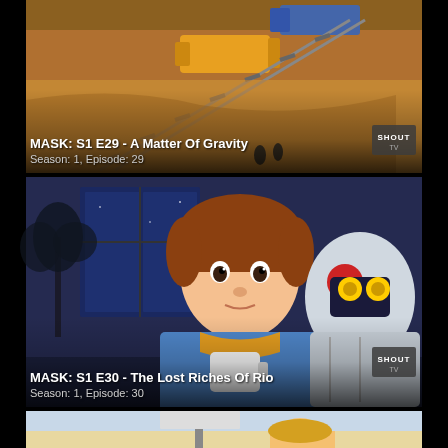[Figure (screenshot): Animated scene from MASK cartoon showing aerial view of train on tracks with yellow vehicle, desert terrain, Shout TV logo in bottom right]
MASK: S1 E29 - A Matter Of Gravity
Season: 1, Episode: 29
[Figure (screenshot): Animated scene from MASK cartoon showing a boy with brown hair in blue shirt holding a white cup, with a robot character in background, nighttime setting, Shout TV logo in bottom right]
MASK: S1 E30 - The Lost Riches Of Rio
Season: 1, Episode: 30
[Figure (screenshot): Partial animated scene from MASK cartoon showing a blonde character, partially visible at bottom of page]